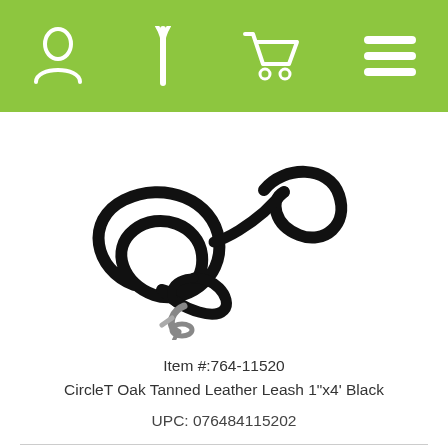[navigation bar with user, logo, cart, menu icons]
[Figure (photo): Black dog leash coiled with metal clip hook, CircleT Oak Tanned Leather Leash 1"x4' Black]
Item #:764-11520
CircleT Oak Tanned Leather Leash 1"x4' Black
UPC: 076484115202
[Figure (photo): Dark red/burgundy dog leash coiled, partially visible at bottom of page]